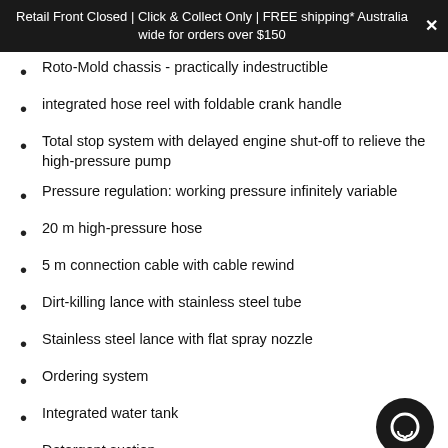Retail Front Closed | Click & Collect Only | FREE shipping* Australia wide for orders over $150
Roto-Mold chassis - practically indestructible
integrated hose reel with foldable crank handle
Total stop system with delayed engine shut-off to relieve the high-pressure pump
Pressure regulation: working pressure infinitely variable
20 m high-pressure hose
5 m connection cable with cable rewind
Dirt-killing lance with stainless steel tube
Stainless steel lance with flat spray nozzle
Ordering system
Integrated water tank
Detergent suction
[Figure (illustration): Chat bubble icon — circular dark button with a speech bubble outline in white]